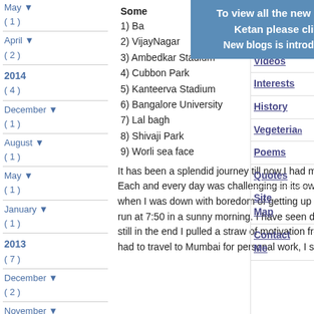May ▼ ( 1 )
April ▼ ( 2 )
2014 ( 4 )
December ▼ ( 1 )
August ▼ ( 1 )
May ▼ ( 1 )
January ▼ ( 1 )
2013 ( 7 )
December ▼ ( 2 )
November ▼ ( 1 )
October ▼ ( 2 )
[Figure (infographic): Blue banner with text: To view all the new blogs from Ketan please click here. New blogs is introduced from]
Some places listed:
1) Ba...
2) VijayNagar
3) Ambedkar Stadium
4) Cubbon Park
5) Kanteerva Stadium
6) Bangalore University
7) Lal bagh
8) Shivaji Park
9) Worli sea face
It has been a splendid journey till now.I had my own share of hardships and teary moments during this journey. Each and every day was challenging in its own way but some days stood apart from the other. One such day was when I was down with boredom of getting up early with severe pain in legs, still I dragged myself up and went to run at 7:50 in a sunny morning. I have seen days when the motivation level was nil due to less sleep last night but still in the end I pulled a straw of motivation from within and completed the 10 km. There were even days when I had to travel to Mumbai for personal work, I squeezed a 10 km
Journey
My Videos
Interests
History
Vegeterian
Poems
Quotes
Site Map
Contact Me